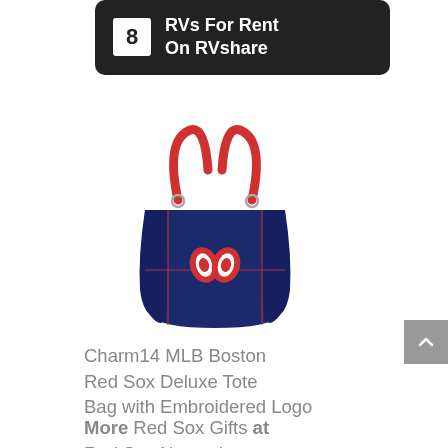8 RVs For Rent On RVshare
[Figure (illustration): Navy blue tote bag with red handles and Boston Red Sox logo embroidered on the front]
Charm14 MLB Boston Red Sox Deluxe Tote Bag with Embroidered Logo
More Red Sox Gifts at Red Sox Network